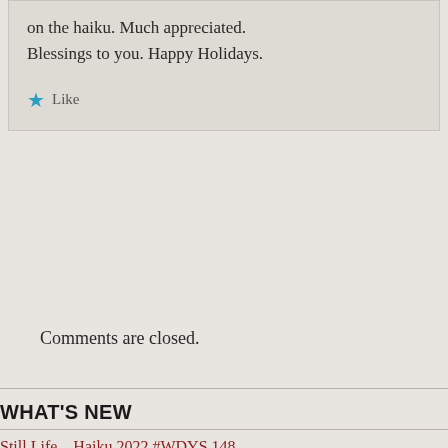on the haiku. Much appreciated. Blessings to you. Happy Holidays.
Like
Comments are closed.
WHAT'S NEW
Still Life – Haiku 2022 #WDYS 148
Dipthongs – Haiku 2022
Crossing – Haiku 2022